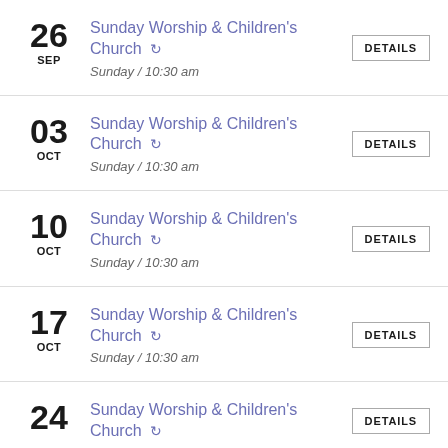26 SEP — Sunday Worship & Children's Church — Sunday / 10:30 am — DETAILS
03 OCT — Sunday Worship & Children's Church — Sunday / 10:30 am — DETAILS
10 OCT — Sunday Worship & Children's Church — Sunday / 10:30 am — DETAILS
17 OCT — Sunday Worship & Children's Church — Sunday / 10:30 am — DETAILS
24 — Sunday Worship & Children's Church — DETAILS